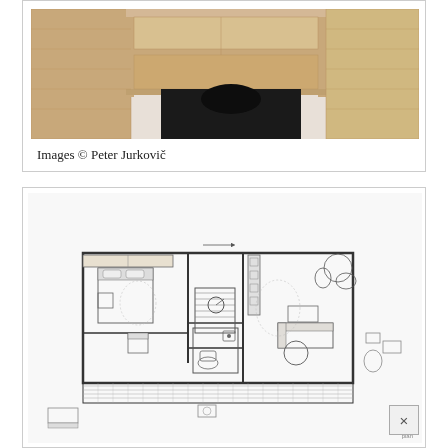[Figure (photo): Interior photo showing wooden plywood shelving structure from above, with a person visible below climbing through or sitting inside the shelf unit. Natural plywood warm tones with white walls visible.]
Images © Peter Jurkovič
[Figure (engineering-diagram): Architectural floor plan showing a residential layout with multiple rooms including a bathroom, kitchen, living area, bedroom, and staircase. Furniture and fixtures are indicated schematically. Outdoor areas with trees/plants shown. A small pop-up close button (×) appears in the bottom right corner.]